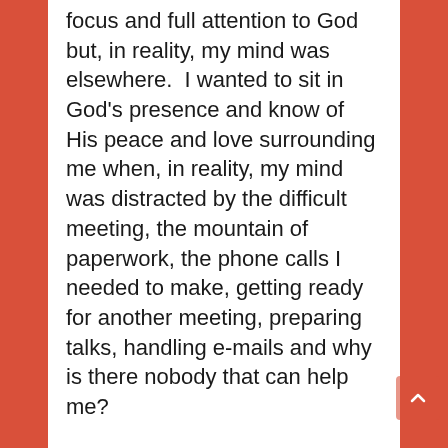focus and full attention to God but, in reality, my mind was elsewhere.  I wanted to sit in God's presence and know of His peace and love surrounding me when, in reality, my mind was distracted by the difficult meeting, the mountain of paperwork, the phone calls I needed to make, getting ready for another meeting, preparing talks, handling e-mails and why is there nobody that can help me?
I was a Martha when I wanted to be a Mary and I am sure I am not the only one who has experienced this.
I cannot ignore my distractions because, they are the very really tasks and challenges of my working day but, I can choose where I allow myself to focus.  Let me try and explain what I